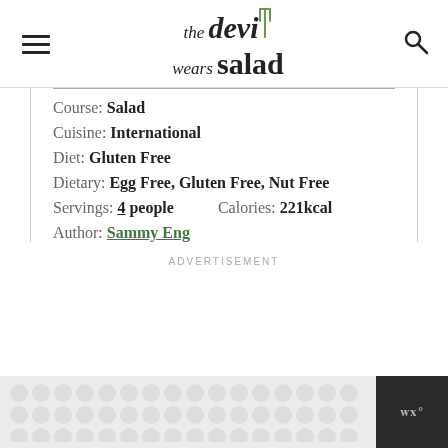the devi wears salad
Course: Salad
Cuisine: International
Diet: Gluten Free
Dietary: Egg Free, Gluten Free, Nut Free
Servings: 4 people    Calories: 221kcal
Author: Sammy Eng
ADVERTISEMENT